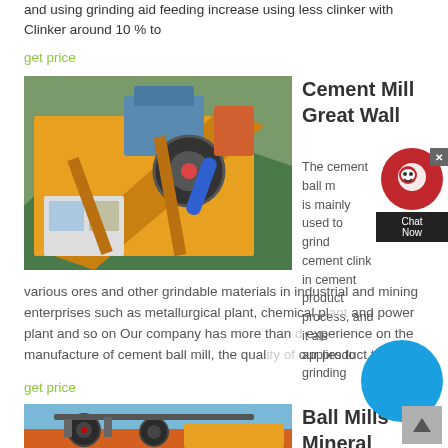and using grinding aid feeding increase using less clinker with Clinker around 10 % to
get price
[Figure (photo): Yellow industrial cement milling machinery and conveyor equipment outdoors]
Cement Mill Great Wall
The cement ball mill is mainly used to grind cement clinker in cement production process, and it also applies to grinding various ores and other grindable materials in industrial and mining enterprises such as metallurgical plant, chemical plant and power plant and so on Our company has more than experience on the manufacture of cement ball mill, the quality of our product takes a
get price
[Figure (photo): Industrial ball mill machinery equipment outdoors]
Ball Mills Mineral Processing &